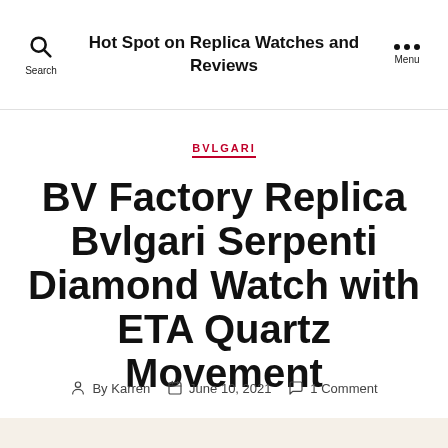Hot Spot on Replica Watches and Reviews
BVLGARI
BV Factory Replica Bvlgari Serpenti Diamond Watch with ETA Quartz Movement
By Karren  June 10, 2021  1 Comment